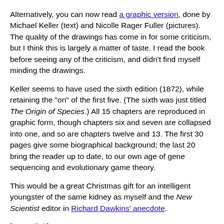Alternatively, you can now read a graphic version, done by Michael Keller (text) and Nicolle Rager Fuller (pictures). The quality of the drawings has come in for some criticism, but I think this is largely a matter of taste. I read the book before seeing any of the criticism, and didn't find myself minding the drawings.
Keller seems to have used the sixth edition (1872), while retaining the "on" of the first five. (The sixth was just titled The Origin of Species.) All 15 chapters are reproduced in graphic form, though chapters six and seven are collapsed into one, and so are chapters twelve and 13. The first 30 pages give some biographical background; the last 20 bring the reader up to date, to our own age of gene sequencing and evolutionary game theory.
This would be a great Christmas gift for an intelligent youngster of the same kidney as myself and the New Scientist editor in Richard Dawkins' anecdote.
[Permalink]
Math Corner.    The solution to last month's puzzle is here.